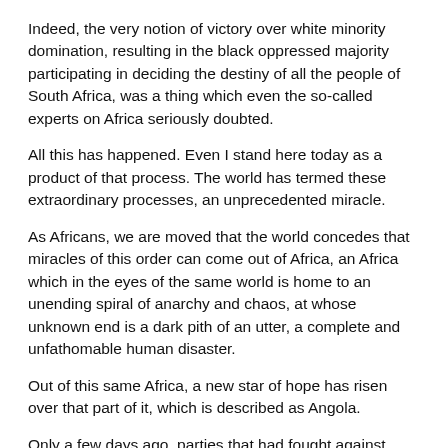Indeed, the very notion of victory over white minority domination, resulting in the black oppressed majority participating in deciding the destiny of all the people of South Africa, was a thing which even the so-called experts on Africa seriously doubted.
All this has happened. Even I stand here today as a product of that process. The world has termed these extraordinary processes, an unprecedented miracle.
As Africans, we are moved that the world concedes that miracles of this order can come out of Africa, an Africa which in the eyes of the same world is home to an unending spiral of anarchy and chaos, at whose unknown end is a dark pith of an utter, a complete and unfathomable human disaster.
Out of this same Africa, a new star of hope has risen over that part of it, which is described as Angola.
Only a few days ago, parties that had fought against each other for decades, as deadly enemies, came together to form a Government of Unity and National Reconciliation, to serve the greater good of the millions of Angolans who have been victim to